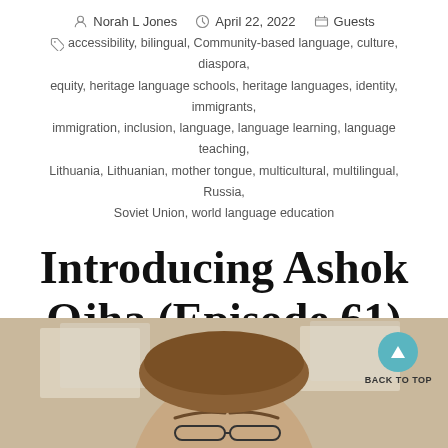Norah L Jones   April 22, 2022   Guests
accessibility, bilingual, Community-based language, culture, diaspora, equity, heritage language schools, heritage languages, identity, immigrants, immigration, inclusion, language, language learning, language teaching, Lithuania, Lithuanian, mother tongue, multicultural, multilingual, Russia, Soviet Union, world language education
Introducing Ashok Ojha (Episode 61)
[Figure (photo): Photo of Ashok Ojha, an older man seen from mid-forehead up, with papers/documents visible in the background. A teal 'Back to Top' button with an upward triangle is visible in the upper right of the photo.]